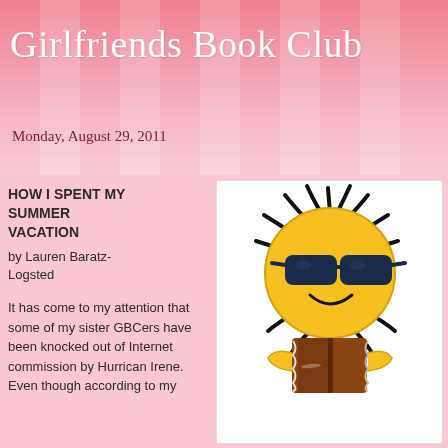Girlfriends Book Club
Monday, August 29, 2011
HOW I SPENT MY SUMMER VACATION
by Lauren Baratz-Logsted
It has come to my attention that some of my sister GBCers have been knocked out of Internet commission by Hurrican Irene. Even though according to my
[Figure (illustration): Cartoon sun wearing sunglasses and reading a book]